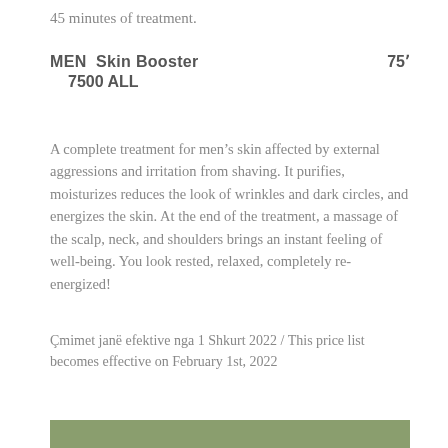45 minutes of treatment.
MEN  Skin Booster   75'
  7500 ALL
A complete treatment for men’s skin affected by external aggressions and irritation from shaving. It purifies, moisturizes reduces the look of wrinkles and dark circles, and energizes the skin. At the end of the treatment, a massage of the scalp, neck, and shoulders brings an instant feeling of well-being. You look rested, relaxed, completely re-energized!
Çmimet janë efektive nga 1 Shkurt 2022 / This price list becomes effective on February 1st, 2022
[Figure (other): Olive/sage green decorative bar at the bottom of the page]